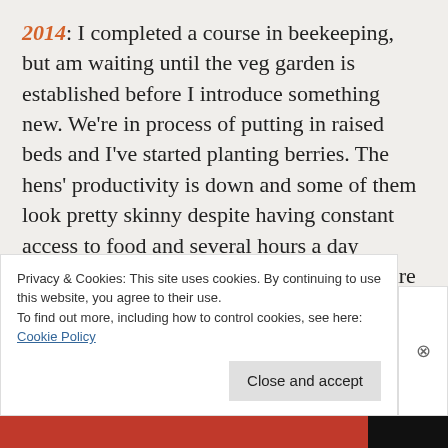2014: I completed a course in beekeeping, but am waiting until the veg garden is established before I introduce something new. We're in process of putting in raised beds and I've started planting berries. The hens' productivity is down and some of them look pretty skinny despite having constant access to food and several hours a day roaming free around the yard … I'm not sure if something isn't right, or if they're just old!! Dec. 2016:  Well, this has been a bad year for gardening too. But
Privacy & Cookies: This site uses cookies. By continuing to use this website, you agree to their use.
To find out more, including how to control cookies, see here:
Cookie Policy
Close and accept